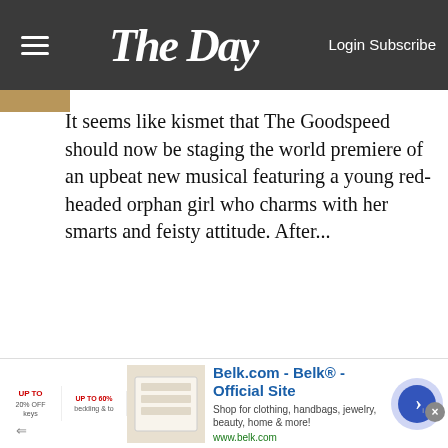The Day — Login Subscribe
It seems like kismet that The Goodspeed should now be staging the world premiere of an upbeat new musical featuring a young red-headed orphan girl who charms with her smarts and feisty attitude. After...
[Figure (photo): Hartford HealthCare Medical Group advertisement featuring Dr. Margo Sardo, DO, Primary Care — photo of a smiling blonde woman]
[Figure (screenshot): Belk.com advertisement — Belk® Official Site. Shop for clothing, handbags, jewelry, beauty, home & more! www.belk.com. Shows bedding image, navigation arrows, close button.]